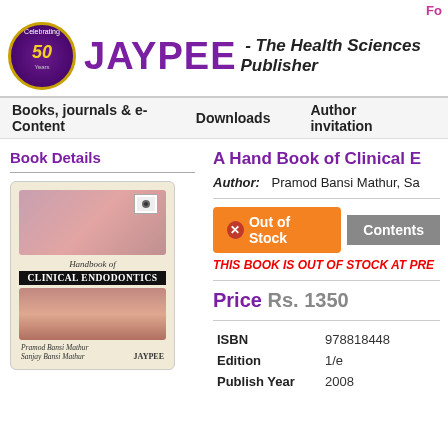Fo
[Figure (logo): Jaypee 50th anniversary logo with purple circle and gold border, text: JAYPEE - The Health Sciences Publisher]
Books, journals & e-Content   Downloads   Author invitation
Book Details
[Figure (photo): Book cover: Handbook of Clinical Endodontics by Pramod Bansi Mathur, Sanjay Bansi Mathur, published by Jaypee]
A Hand Book of Clinical E
Author:   Pramod Bansi Mathur, Sa
Out of Stock   Contents
THIS BOOK IS OUT OF STOCK AT PRE
Price Rs. 1350
| Field | Value |
| --- | --- |
| ISBN | 978818448 |
| Edition | 1/e |
| Publish Year | 2008 |